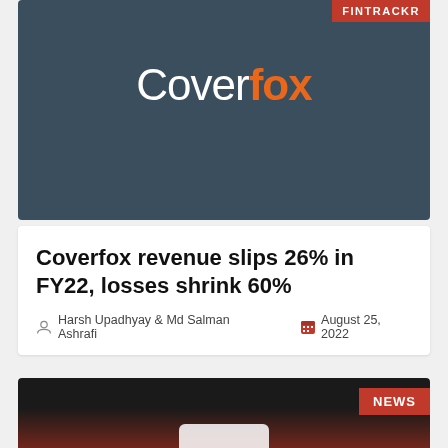[Figure (logo): Coverfox logo on dark blue-grey background with FINTRACKR badge in top right corner]
Coverfox revenue slips 26% in FY22, losses shrink 60%
Harsh Upadhyay & Md Salman Ashrafi    August 25, 2022
[Figure (photo): Dark image with NEWS badge in red on top right, partial white shape visible at bottom]